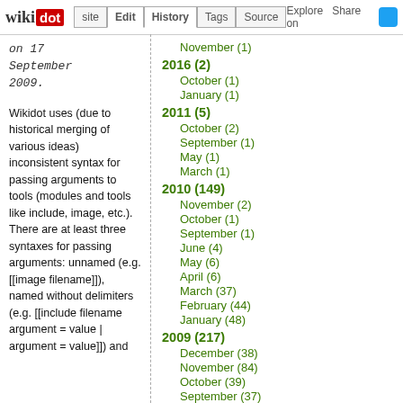wikidot | site | Edit | History | Tags | Source | Explore | Share on [Twitter]
on 17 September 2009.
Wikidot uses (due to historical merging of various ideas) inconsistent syntax for passing arguments to tools (modules and tools like include, image, etc.). There are at least three syntaxes for passing arguments: unnamed (e.g. [[image filename]]), named without delimiters (e.g. [[include filename argument = value | argument = value]]) and
November (1)
2016 (2)
October (1)
January (1)
2011 (5)
October (2)
September (1)
May (1)
March (1)
2010 (149)
November (2)
October (1)
September (1)
June (4)
May (6)
April (6)
March (37)
February (44)
January (48)
2009 (217)
December (38)
November (84)
October (39)
September (37)
August (19)
To close a thread, tag it with _closed.
Sections